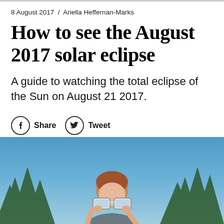8 August 2017  /  Ariella Heffernan-Marks
How to see the August 2017 solar eclipse
A guide to watching the total eclipse of the Sun on August 21 2017.
[Figure (illustration): Social share buttons: Facebook Share and Twitter Tweet circular icon buttons]
[Figure (photo): Person holding eclipse glasses up to face against a blue sky with trees in background]